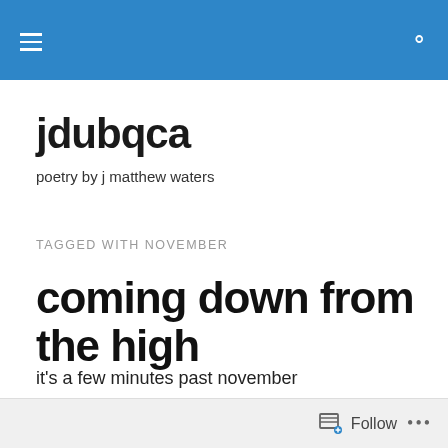jdubqca [navigation bar with hamburger menu and search icon]
jdubqca
poetry by j matthew waters
TAGGED WITH NOVEMBER
coming down from the high
it's a few minutes past november
and already I'm bracing for the calm
Follow ...